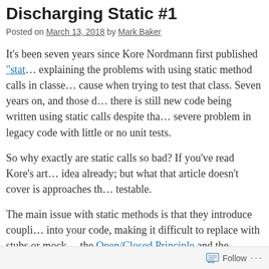Discharging Static #1
Posted on March 13, 2018 by Mark Baker
It’s been seven years since Kore Nordmann first published “stat… explaining the problems with using static method calls in classes and the problems they cause when trying to test that class. Seven years on, and those d… there is still new code being written using static calls despite tha… severe problem in legacy code with little or no unit tests.
So why exactly are static calls so bad? If you’ve read Kore’s art… idea already; but what that article doesn’t cover is approaches th… testable.
The main issue with static methods is that they introduce coupli… into your code, making it difficult to replace with stubs or mock… the Open/Closed Principle and the Dependency Inversion Princi… SOLID.
Testing static methods however is really fairly straightf…